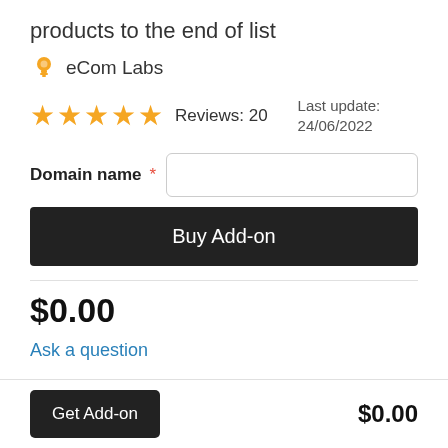products to the end of list
eCom Labs
★★★★★  Reviews: 20    Last update: 24/06/2022
Domain name *
Buy Add-on
$0.00
Ask a question
Get Add-on    $0.00